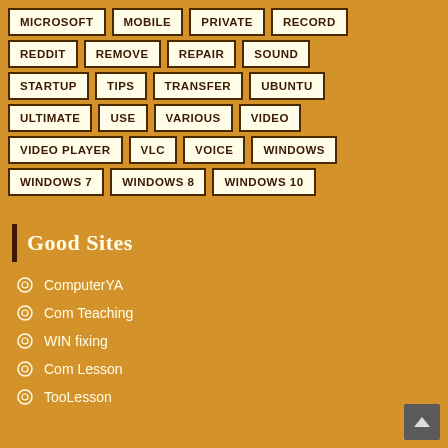MICROSOFT
MOBILE
PRIVATE
RECORD
REDDIT
REMOVE
REPAIR
SOUND
STARTUP
TIPS
TRANSFER
UBUNTU
ULTIMATE
USE
VARIOUS
VIDEO
VIDEO PLAYER
VLC
VOICE
WINDOWS
WINDOWS 7
WINDOWS 8
WINDOWS 10
Good Sites
ComputerYA
Com Teaching
WIN fixing
Com Lesson
TooLesson